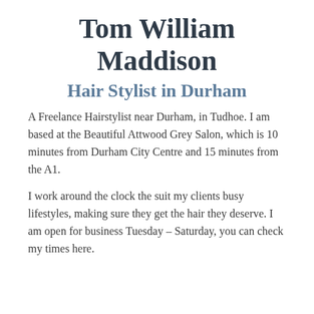Tom William Maddison
Hair Stylist in Durham
A Freelance Hairstylist near Durham, in Tudhoe. I am based at the Beautiful Attwood Grey Salon, which is 10 minutes from Durham City Centre and 15 minutes from the A1.
I work around the clock the suit my clients busy lifestyles, making sure they get the hair they deserve. I am open for business Tuesday – Saturday, you can check my times here.